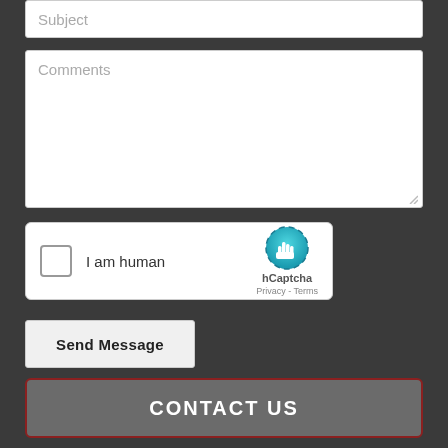[Figure (screenshot): Subject text input field with placeholder text 'Subject' on dark background]
[Figure (screenshot): Comments textarea with placeholder text 'Comments' on dark background, with resize handle]
[Figure (screenshot): hCaptcha widget with checkbox labeled 'I am human', hCaptcha logo, and 'Privacy - Terms' links]
[Figure (screenshot): Send Message button]
[Figure (screenshot): CONTACT US button with dark red border on dark background]